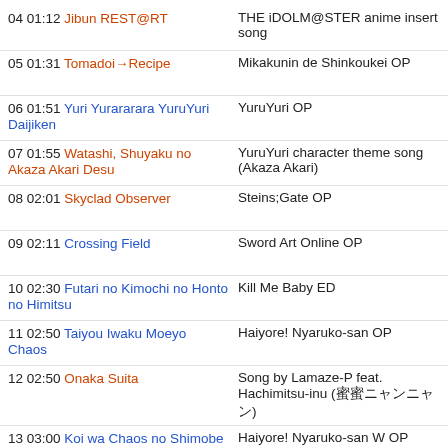04 01:12 Jibun REST@RT | THE iDOLM@STER anime insert song
05 01:31 Tomadoi→Recipe | Mikakunin de Shinkoukei OP
06 01:51 Yuri Yurararara YuruYuri Daijiken | YuruYuri OP
07 01:55 Watashi, Shuyaku no Akaza Akari Desu | YuruYuri character theme song (Akaza Akari)
08 02:01 Skyclad Observer | Steins;Gate OP
09 02:11 Crossing Field | Sword Art Online OP
10 02:30 Futari no Kimochi no Honto no Himitsu | Kill Me Baby ED
11 02:50 Taiyou Iwaku Moeyo Chaos | Haiyore! Nyaruko-san OP
12 02:50 Onaka Suita | Song by Lamaze-P feat. Hachimitsu-inu (蜂蜜ニャンニャン)
13 03:00 Koi wa Chaos no Shimobe Nari | Haiyore! Nyaruko-san W OP
14 03:00 Chirumiru Cirno | Touhou Project BGM (arranged by Conagusuri)
15 03:14 Meumeupettantan!! | DanceDanceRevolution (2013), REFLEC BEAT colette -Spring- playable song
16 03:22 Hanamaru Sensation | Kodomo no Jikan ED